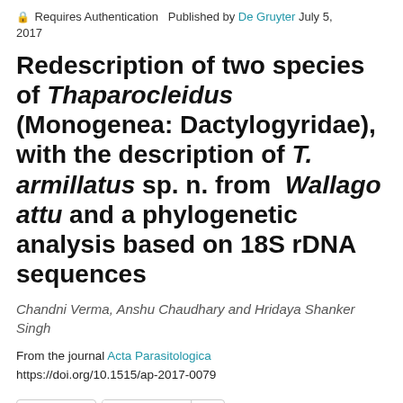Requires Authentication  Published by De Gruyter July 5, 2017
Redescription of two species of Thaparocleidus (Monogenea: Dactylogyridae), with the description of T. armillatus sp. n. from Wallago attu and a phylogenetic analysis based on 18S rDNA sequences
Chandni Verma, Anshu Chaudhary and Hridaya Shanker Singh
From the journal Acta Parasitologica
https://doi.org/10.1515/ap-2017-0079
Cite this  Citations 2